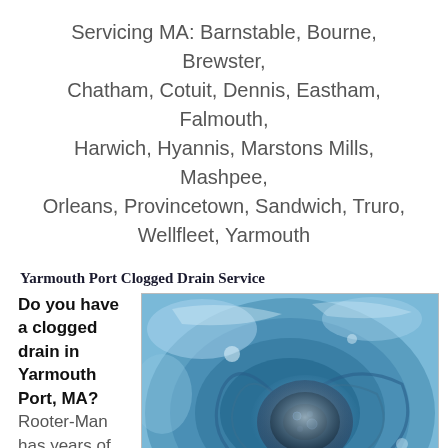Servicing MA: Barnstable, Bourne, Brewster, Chatham, Cotuit, Dennis, Eastham, Falmouth, Harwich, Hyannis, Marstons Mills, Mashpee, Orleans, Provincetown, Sandwich, Truro, Wellfleet, Yarmouth
Yarmouth Port Clogged Drain Service
Do you have a clogged drain in Yarmouth Port, MA? Rooter-Man has years of
[Figure (photo): Close-up photo of water swirling down a drain, blue-toned image showing the drain opening with water vortex and bubbles around it.]